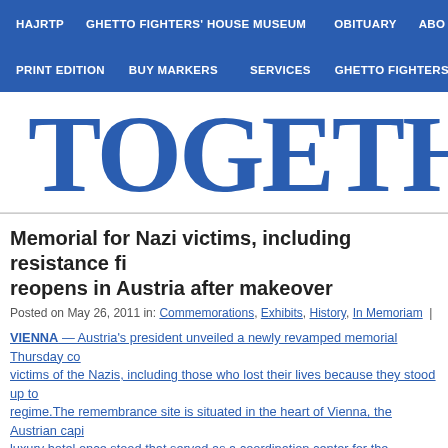HAJRTP | GHETTO FIGHTERS' HOUSE MUSEUM | OBITUARY | ABO
PRINT EDITION | BUY MARKERS | SERVICES | GHETTO FIGHTERS
TOGETHE
Memorial for Nazi victims, including resistance fi... reopens in Austria after makeover
Posted on May 26, 2011 in: Commemorations, Exhibits, History, In Memoriam | Jum
VIENNA — Austria's president unveiled a newly revamped memorial Thursday co... victims of the Nazis, including those who lost their lives because they stood up to... regime.The remembrance site is situated in the heart of Vienna, the Austrian capi... luxury hotel once stood that served as a coordination center for the Gestapo, Ado... police. Dedicated not only to Jewish victims but also to resistance fighters, it inclu... exhibit that shows how Gestapo officials often used torture to torment those they ... notes how the feared force was fed information from spies and informants in the A... population."The fates of thousands of people were decided here," Austrian Presid... Fischer told a small crowd. "Thousands became victims of torture and were often... concentration camps.""Never Forget!" is written across the rear of the small space... the back entrance of the Gestapo center. Leading to it are footprints that...acco